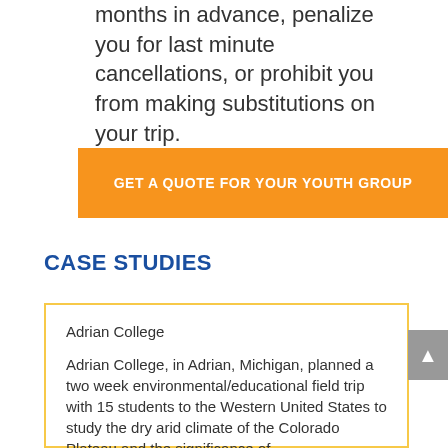months in advance, penalize you for last minute cancellations, or prohibit you from making substitutions on your trip.
GET A QUOTE FOR YOUR YOUTH GROUP
CASE STUDIES
Adrian College
Adrian College, in Adrian, Michigan, planned a two week environmental/educational field trip with 15 students to the Western United States to study the dry arid climate of the Colorado Plateau and the significance of